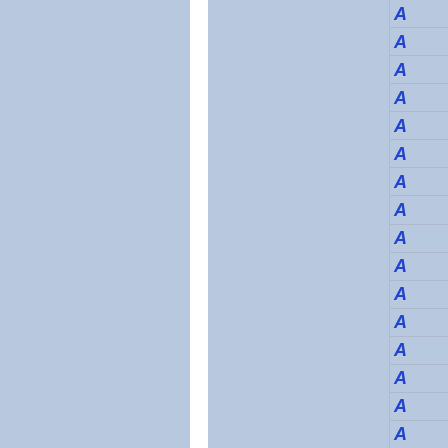[Figure (other): Document index or table of contents sidebar with letter 'A' repeated in blue italic bold font across multiple rows on a light blue background, separated by thin horizontal lines. Two large light-blue panels are visible on the left separated by a white vertical divider.]